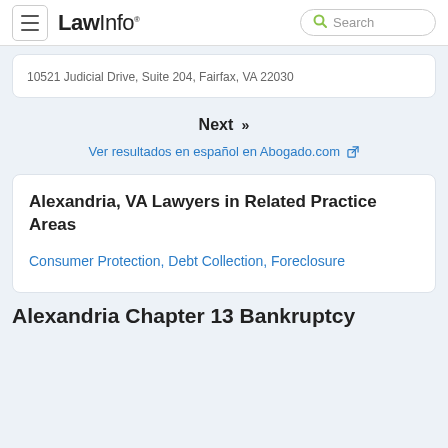LawInfo. Search
10521 Judicial Drive, Suite 204, Fairfax, VA 22030
Next »
Ver resultados en español en Abogado.com
Alexandria, VA Lawyers in Related Practice Areas
Consumer Protection, Debt Collection, Foreclosure
Alexandria Chapter 13 Bankruptcy